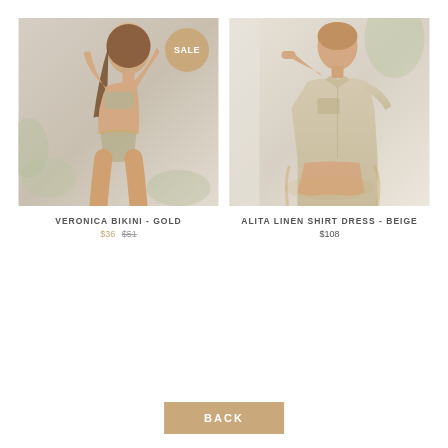[Figure (photo): Woman modeling a gold/silver bikini set outdoors with a SALE badge in the top right corner]
VERONICA BIKINI - GOLD
$36  $51
[Figure (photo): Woman modeling a beige linen shirt dress, seated in a wicker chair]
ALITA LINEN SHIRT DRESS - BEIGE
$108
BACK